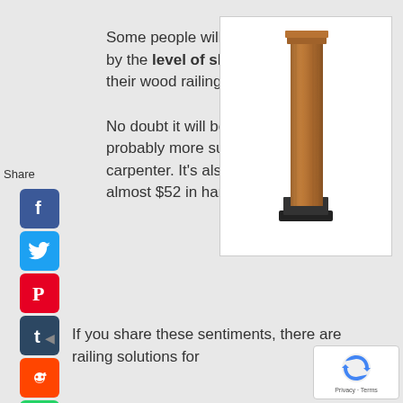Some people will be a bit initimidated by the level of skill needed to build their wood railing like this.

No doubt it will be strong but this is probably more suitable for a seasoned carpenter. It's also quite pricey at almost $52 in hardware alone.
[Figure (photo): A tall wooden post/newel post with a black metal base bracket on a white background]
If you share these sentiments, there are railing solutions for